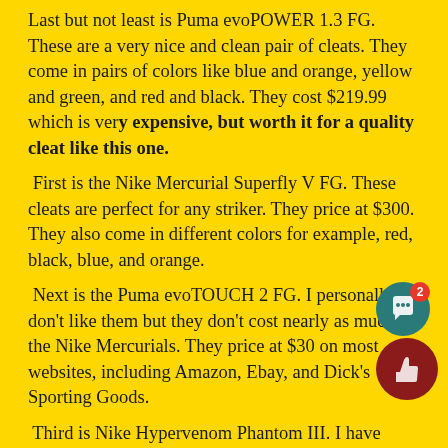Last but not least is Puma evoPOWER 1.3 FG. These are a very nice and clean pair of cleats. They come in pairs of colors like blue and orange, yellow and green, and red and black. They cost $219.99 which is very expensive, but worth it for a quality cleat like this one.
First is the Nike Mercurial Superfly V FG. These cleats are perfect for any striker. They price at $300. They also come in different colors for example, red, black, blue, and orange.
Next is the Puma evoTOUCH 2 FG. I personally don't like them but they don't cost nearly as much as the Nike Mercurials. They price at $30 on most websites, including Amazon, Ebay, and Dick's Sporting Goods.
Third is Nike Hypervenom Phantom III. I have these cleats and they work really good for all positions, and don't wear easy. The main colors are neon green and neon orange.